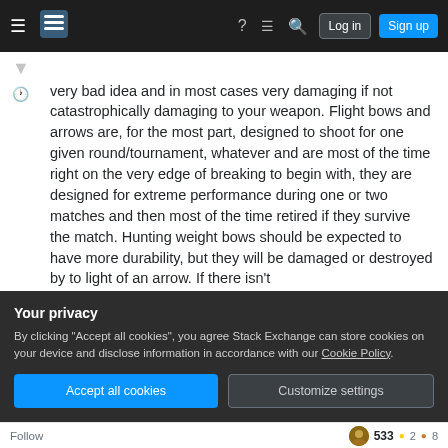Stack Exchange navigation bar with Log in and Sign up buttons
very bad idea and in most cases very damaging if not catastrophically damaging to your weapon. Flight bows and arrows are, for the most part, designed to shoot for one given round/tournament, whatever and are most of the time right on the very edge of breaking to begin with, they are designed for extreme performance during one or two matches and then most of the time retired if they survive the match. Hunting weight bows should be expected to have more durability, but they will be damaged or destroyed by to light of an arrow. If there isn't
Your privacy
By clicking "Accept all cookies", you agree Stack Exchange can store cookies on your device and disclose information in accordance with our Cookie Policy.
Follow  533 ●2 ●8